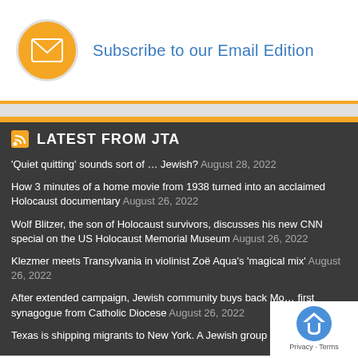[Figure (illustration): Orange circle with white envelope/email icon]
Subscribe to our Email Edition
LATEST FROM JTA
'Quiet quitting' sounds sort of … Jewish? August 28, 2022
How 3 minutes of a home movie from 1938 turned into an acclaimed Holocaust documentary August 26, 2022
Wolf Blitzer, the son of Holocaust survivors, discusses his new CNN special on the US Holocaust Memorial Museum August 26, 2022
Klezmer meets Transylvania in violinist Zoë Aqua's 'magical mix' August 26, 2022
After extended campaign, Jewish community buys back Mo… first synagogue from Catholic Diocese August 26, 2022
Texas is shipping migrants to New York. A Jewish group is giving…